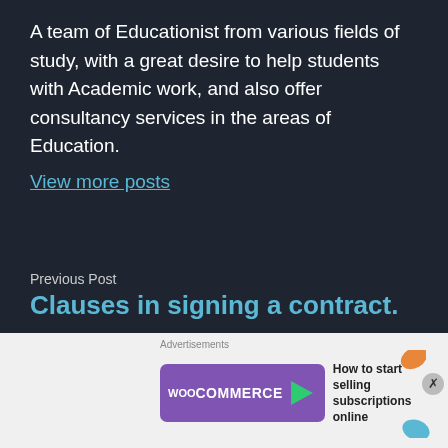A team of Educationist from various fields of study, with a great desire to help students with Academic work, and also offer consultancy services in the areas of Education.
View more posts
Previous Post
Clauses in signing a contract.
Next Post
Number Theory and Computation
[Figure (screenshot): WooCommerce advertisement banner: purple WooCommerce logo with green play arrow, text 'How to start selling subscriptions online', orange and blue decorative leaf shapes on right side.]